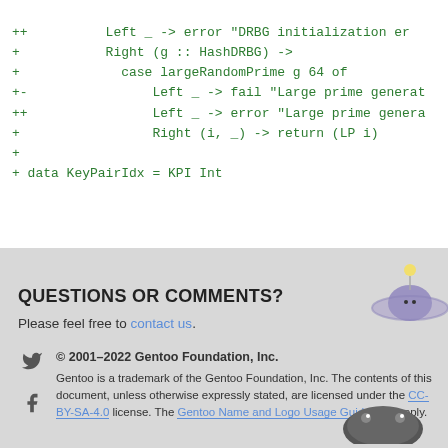++          Left _ -> error "DRBG initialization er
+           Right (g :: HashDRBG) ->
+             case largeRandomPrime g 64 of
+-                Left _ -> fail "Large prime generat
++                Left _ -> error "Large prime genera
+                 Right (i, _) -> return (LP i)
+
+ data KeyPairIdx = KPI Int
QUESTIONS OR COMMENTS?
Please feel free to contact us.
© 2001–2022 Gentoo Foundation, Inc.
Gentoo is a trademark of the Gentoo Foundation, Inc. The contents of this document, unless otherwise expressly stated, are licensed under the CC-BY-SA-4.0 license. The Gentoo Name and Logo Usage Guidelines apply.